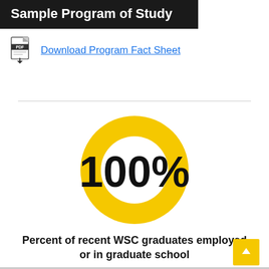Sample Program of Study
Download Program Fact Sheet
[Figure (infographic): Large yellow ring/donut shape with '100%' text in bold black overlaid in the center, representing 100 percent of recent WSC graduates employed or in graduate school.]
Percent of recent WSC graduates employed or in graduate school
based on the most recent graduate survey